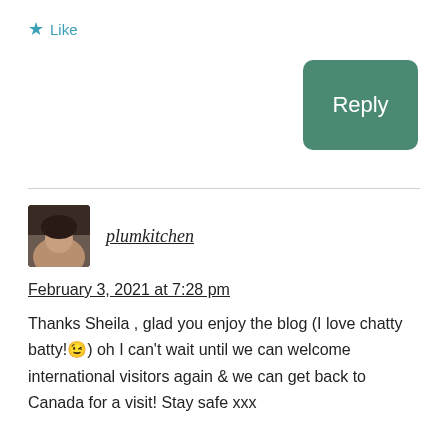★ Like
Reply
plumkitchen
February 3, 2021 at 7:28 pm
Thanks Sheila , glad you enjoy the blog (I love chatty batty!😉) oh I can't wait until we can welcome international visitors again & we can get back to Canada for a visit! Stay safe xxx